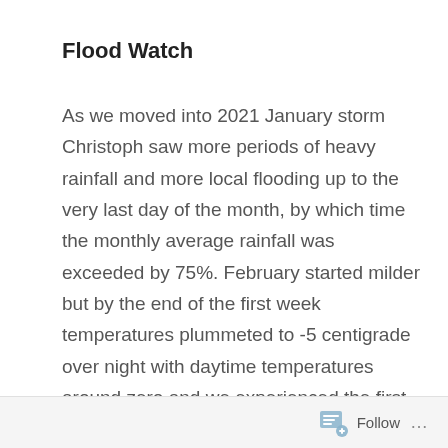Flood Watch
As we moved into 2021 January storm Christoph saw more periods of heavy rainfall and more local flooding up to the very last day of the month, by which time the monthly average rainfall was exceeded by 75%. February started milder but by the end of the first week temperatures plummeted to -5 centigrade over night with daytime temperatures around zero and we experienced the first snowfall brought about by the “Beast from the East 2”, named Darcy. This was followed by a week of strong winds with coastal speeds of over 80 mph
Follow …